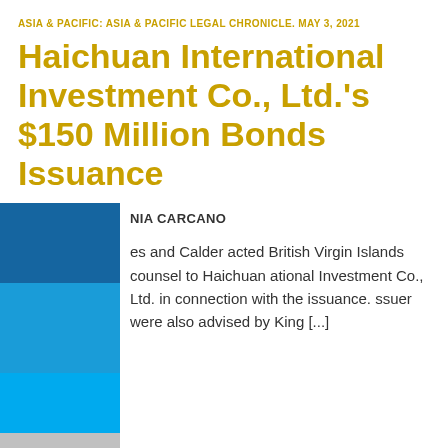ASIA & PACIFIC: ASIA & PACIFIC LEGAL CHRONICLE. MAY 3, 2021
Haichuan International Investment Co., Ltd.'s $150 Million Bonds Issuance
NIA CARCANO
es and Calder acted British Virgin Islands counsel to Haichuan ational Investment Co., Ltd. in connection with the issuance. ssuer were also advised by King [...]